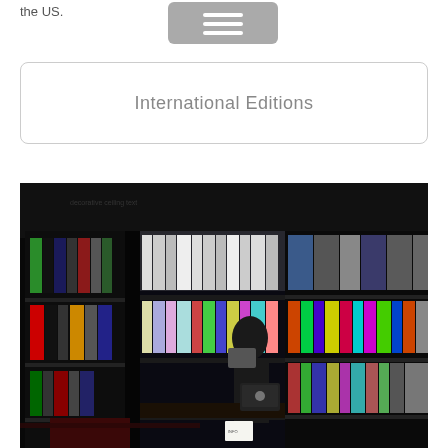the US.
International Editions
[Figure (photo): Interior of a bookstore with dark shelving filled with colorful books. A person stands behind a counter holding a book, with a laptop visible on the counter in front of them. The store has dark walls and ceiling with extensive book displays.]